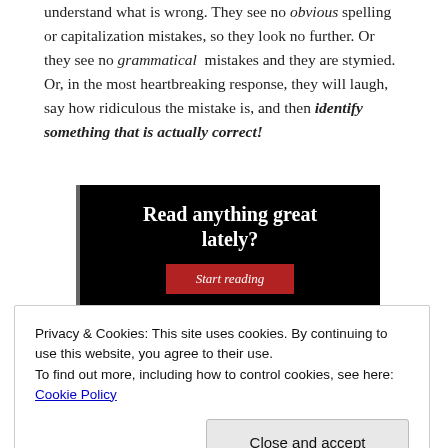understand what is wrong. They see no obvious spelling or capitalization mistakes, so they look no further. Or they see no grammatical mistakes and they are stymied. Or, in the most heartbreaking response, they will laugh, say how ridiculous the mistake is, and then identify something that is actually correct!
[Figure (other): Advertisement banner with black background, white bold text reading 'Read anything great lately?' and a red button labeled 'Start reading']
Privacy & Cookies: This site uses cookies. By continuing to use this website, you agree to their use. To find out more, including how to control cookies, see here: Cookie Policy